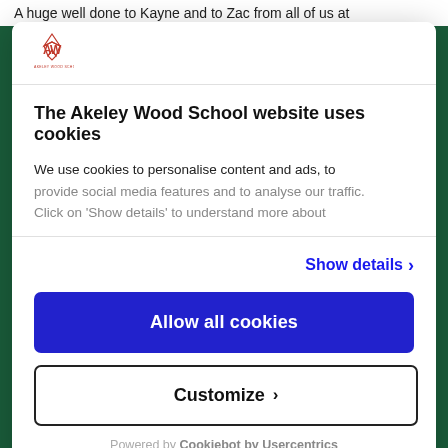A huge well done to Kayne and to Zac from all of us at
[Figure (logo): Akeley Wood School logo — stylized AW initials with school name below]
The Akeley Wood School website uses cookies
We use cookies to personalise content and ads, to provide social media features and to analyse our traffic. Click on 'Show details' to understand more about
Show details >
Allow all cookies
Customize >
Powered by Cookiebot by Usercentrics
Address